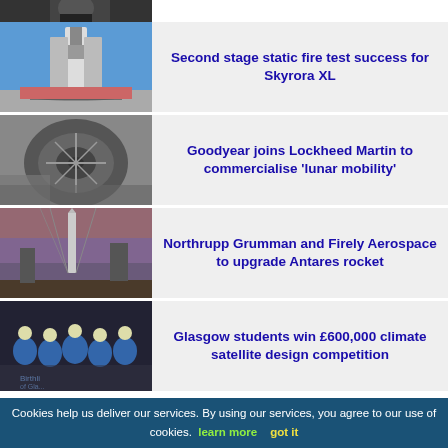[Figure (photo): Partial top image cropped — dark background with person figure]
[Figure (photo): Skyrora XL rocket test stand with team of people in front, blue sky]
Second stage static fire test success for Skyrora XL
[Figure (photo): Close-up of a large futuristic lunar rover tire on moon surface, black and white]
Goodyear joins Lockheed Martin to commercialise 'lunar mobility'
[Figure (photo): Antares rocket on launch pad at dusk]
Northrupp Grumman and Firely Aerospace to upgrade Antares rocket
[Figure (photo): Group of Glasgow students in blue jumpsuits posing for photo]
Glasgow students win £600,000 climate satellite design competition
Cookies help us deliver our services. By using our services, you agree to our use of cookies. learn more   got it